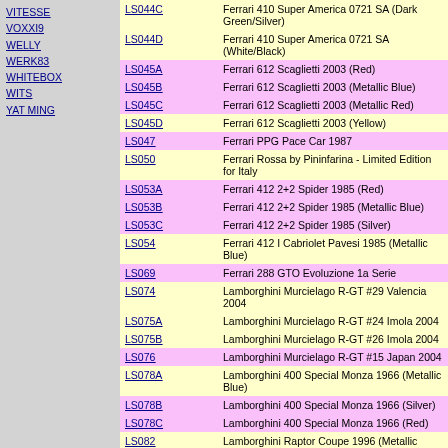VITESSE
VOXXI9
WELLY
WERK83
WHITEBOX
WITS
YAT MING
| Code | Description |
| --- | --- |
| LS044C | Ferrari 410 Super America 0721 SA (Dark Green/Silver) |
| LS044D | Ferrari 410 Super America 0721 SA (White/Black) |
| LS045A | Ferrari 612 Scaglietti 2003 (Red) |
| LS045B | Ferrari 612 Scaglietti 2003 (Metallic Blue) |
| LS045C | Ferrari 612 Scaglietti 2003 (Metallic Red) |
| LS045D | Ferrari 612 Scaglietti 2003 (Yellow) |
| LS047 | Ferrari PPG Pace Car 1987 |
| LS050 | Ferrari Rossa by Pininfarina - Limited Edition for Italy |
| LS053A | Ferrari 412 2+2 Spider 1985 (Red) |
| LS053B | Ferrari 412 2+2 Spider 1985 (Metallic Blue) |
| LS053C | Ferrari 412 2+2 Spider 1985 (Silver) |
| LS054 | Ferrari 412 I Cabriolet Pavesi 1985 (Metallic Blue) |
| LS069 | Ferrari 288 GTO Evoluzione 1a Serie |
| LS074 | Lamborghini Murcielago R-GT #29 Valencia 2004 |
| LS075A | Lamborghini Murcielago R-GT #24 Imola 2004 |
| LS075B | Lamborghini Murcielago R-GT #26 Imola 2004 |
| LS076 | Lamborghini Murcielago R-GT #15 Japan 2004 |
| LS078A | Lamborghini 400 Special Monza 1966 (Metallic Blue) |
| LS078B | Lamborghini 400 Special Monza 1966 (Silver) |
| LS078C | Lamborghini 400 Special Monza 1966 (Red) |
| LS082 | Lamborghini Raptor Coupe 1996 (Metallic Blue) |
| LS082R | Lamborghini Raptor Coupe 1996 (Red) |
|  | Lamborghini (partial) |